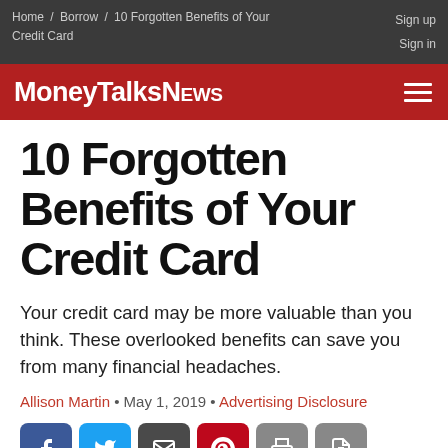Home / Borrow / 10 Forgotten Benefits of Your Credit Card — Sign up Sign in
[Figure (logo): MoneyTalksNews logo on red background with hamburger menu icon]
10 Forgotten Benefits of Your Credit Card
Your credit card may be more valuable than you think. These overlooked benefits can save you from many financial headaches.
Allison Martin • May 1, 2019 • Advertising Disclosure
[Figure (other): Social sharing buttons: Facebook, Twitter, Email, Pinterest, Print, PDF]